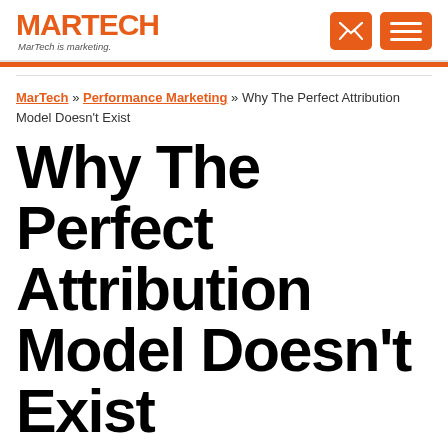MARTECH — MarTech is marketing.
MarTech » Performance Marketing » Why The Perfect Attribution Model Doesn't Exist
Why The Perfect Attribution Model Doesn't Exist
Don't waste your time searching for the perfect attribution model. Columnist David Rekus offers four methods of